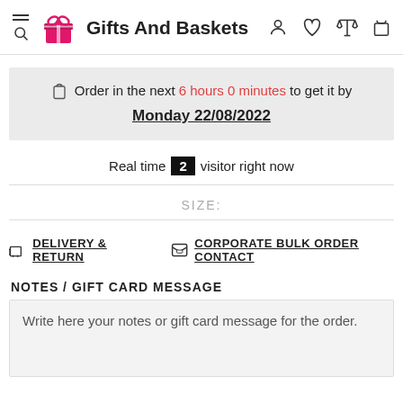Gifts And Baskets
Order in the next 6 hours 0 minutes to get it by Monday 22/08/2022
Real time 2 visitor right now
SIZE:
DELIVERY & RETURN
CORPORATE BULK ORDER CONTACT
NOTES / GIFT CARD MESSAGE
Write here your notes or gift card message for the order.